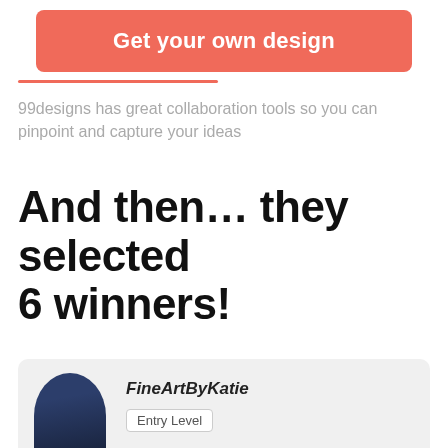[Figure (other): Red/coral rounded button banner with white bold text saying 'Get your own design']
99designs has great collaboration tools so you can pinpoint and capture your ideas
And then… they selected 6 winners!
[Figure (other): Card with avatar photo of FineArtByKatie designer with Entry Level badge]